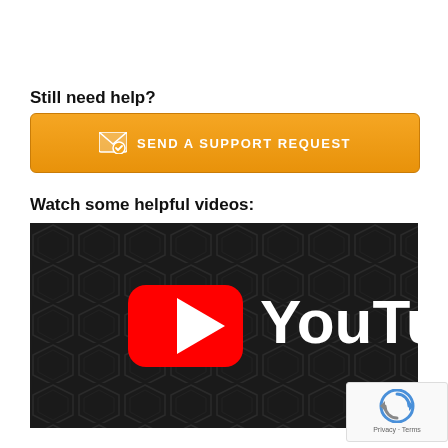Still need help?
[Figure (other): Orange button with envelope icon and text SEND A SUPPORT REQUEST]
Watch some helpful videos:
[Figure (other): YouTube logo on dark hexagonal patterned background, with red play button icon and white YouTube text]